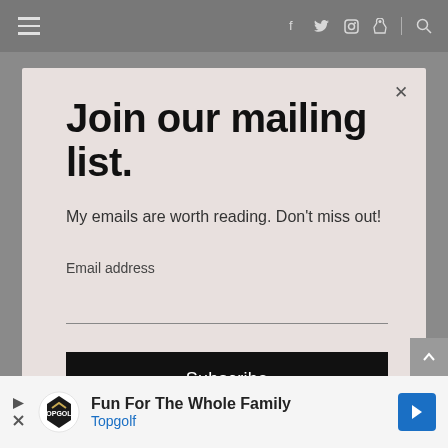Navigation bar with hamburger menu and social icons: f, twitter, instagram, pinterest, search
Join our mailing list.
My emails are worth reading. Don't miss out!
Email address
Subscribe
[Figure (screenshot): Advertisement banner: Fun For The Whole Family - Topgolf, with Topgolf logo and blue arrow button]